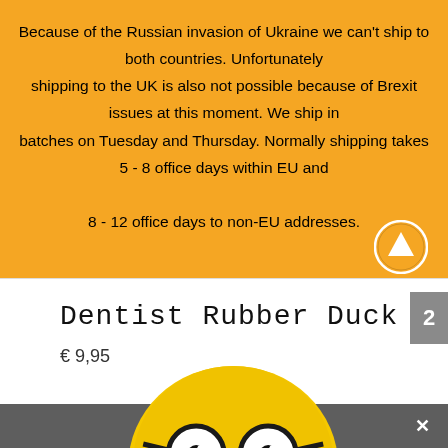Because of the Russian invasion of Ukraine we can't ship to both countries. Unfortunately shipping to the UK is also not possible because of Brexit issues at this moment. We ship in batches on Tuesday and Thursday. Normally shipping takes 5 - 8 office days within EU and 8 - 12 office days to non-EU addresses.
Dentist Rubber Duck
€ 9,95
[Figure (photo): Yellow rubber duck with round black-rimmed glasses and orange beak]
Share This ∨   ✕